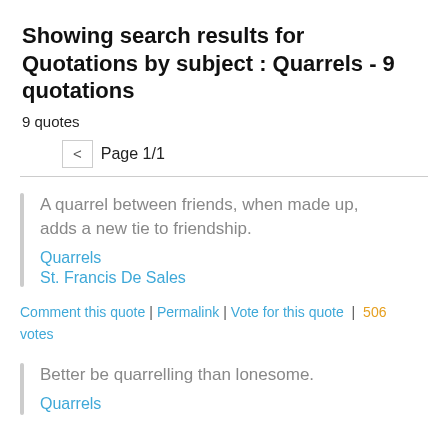Showing search results for Quotations by subject : Quarrels - 9 quotations
9 quotes
< Page 1/1
A quarrel between friends, when made up, adds a new tie to friendship.
Quarrels
St. Francis De Sales
Comment this quote | Permalink | Vote for this quote | 506 votes
Better be quarrelling than lonesome.
Quarrels